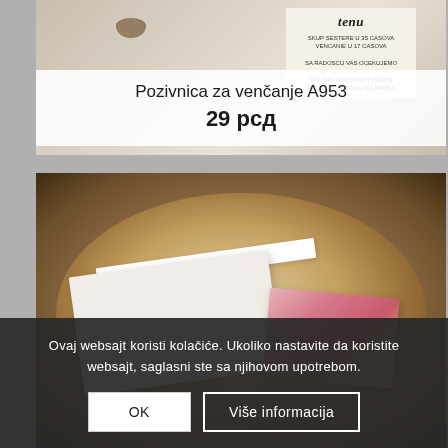[Figure (photo): Wedding invitation on wooden slice with bow tie accessory]
Pozivnica za venčanje A953
29 рсд
[Figure (photo): Wedding envelope and invitation card on wooden slice]
Ovaj websajt koristi kolačiće. Ukoliko nastavite da koristite websajt, saglasni ste sa njihovom upotrebom.
OK
Više informacija